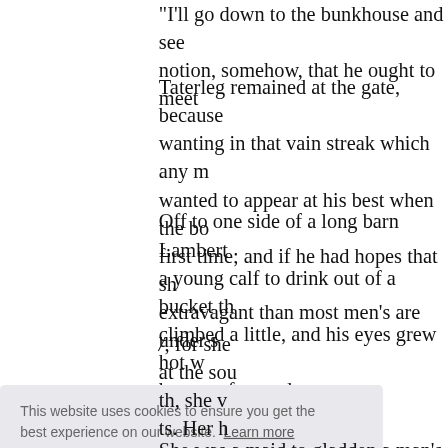"I'll go down to the bunkhouse and see notion, somehow, that he ought to meet
Taterleg remained at the gate, because wanting in that vain streak which any m wanted to appear at his best when the bo first time; and if he had hopes that sh extravagant than most men's are under s
Off to one side of a long barn Lambert a young calf to drink out of a bucket th climbed a little, and his eyes grew hot w he went forward.
/, for she at the sou th, she v ts. Her h
[Figure (screenshot): Cookie consent banner overlay with text 'This website uses cookies to ensure you get the best experience on our website. Learn more' and a blue 'Got it!' button.]
She was a maid to gladden a man's hea